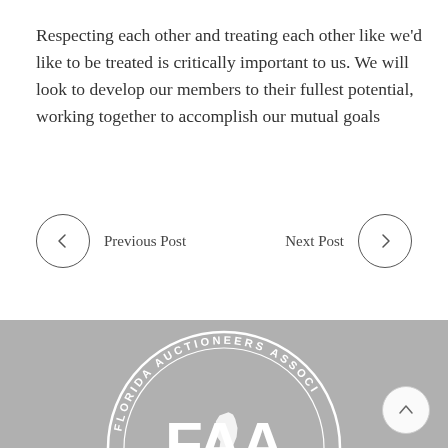Respecting each other and treating each other like we'd like to be treated is critically important to us. We will look to develop our members to their fullest potential, working together to accomplish our mutual goals
[Figure (other): Navigation buttons: Previous Post (left arrow circle) on the left, Next Post (right arrow circle) on the right]
[Figure (logo): Florida Auctioneers Association (FAA) circular seal logo in white on gray background, partially visible at bottom of page]